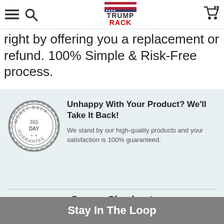Trump Rack (navigation bar with logo)
right by offering you a replacement or refund. 100% Simple & Risk-Free process.
[Figure (illustration): 365 Day Money-Back Guarantee badge/seal in grey]
Unhappy With Your Product? We'll Take It Back!
We stand by our high-quality products and your satisfaction is 100% guaranteed.
Secure Checkout
We use encrypted SSL security to ensure that your credit card information is 100% protected.
[Figure (logo): Payment icons: VISA, Mastercard, AMEX, PayPal, Lock, Shopify Secure]
Stay In The Loop